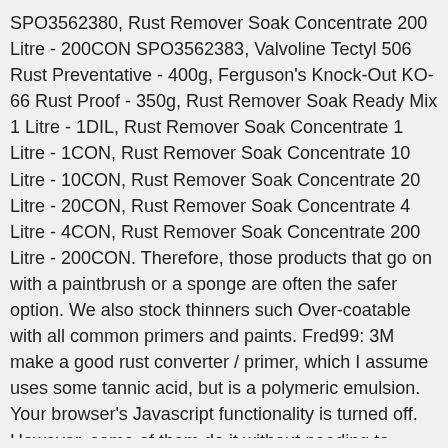SPO3562380, Rust Remover Soak Concentrate 200 Litre - 200CON SPO3562383, Valvoline Tectyl 506 Rust Preventative - 400g, Ferguson's Knock-Out KO-66 Rust Proof - 350g, Rust Remover Soak Ready Mix 1 Litre - 1DIL, Rust Remover Soak Concentrate 1 Litre - 1CON, Rust Remover Soak Concentrate 10 Litre - 10CON, Rust Remover Soak Concentrate 20 Litre - 20CON, Rust Remover Soak Concentrate 4 Litre - 4CON, Rust Remover Soak Concentrate 200 Litre - 200CON. Therefore, those products that go on with a paintbrush or a sponge are often the safer option. We also stock thinners such Over-coatable with all common primers and paints. Fred99: 3M make a good rust converter / primer, which I assume uses some tannic acid, but is a polymeric emulsion. Your browser's Javascript functionality is turned off. However, some of them do it without needing to perform any prep or pos… To use the rust converter and primer sealer, start by removing as much rust as possible - using a wire brush, sandpaper, or a grinder. 1. 6. Filter Website Results Supercheap Auto's Rust Converter and Primer Sealer